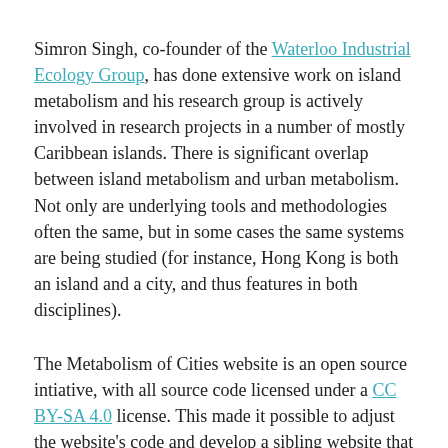Simron Singh, co-founder of the Waterloo Industrial Ecology Group, has done extensive work on island metabolism and his research group is actively involved in research projects in a number of mostly Caribbean islands. There is significant overlap between island metabolism and urban metabolism. Not only are underlying tools and methodologies often the same, but in some cases the same systems are being studied (for instance, Hong Kong is both an island and a city, and thus features in both disciplines).
The Metabolism of Cities website is an open source intiative, with all source code licensed under a CC BY-SA 4.0 license. This made it possible to adjust the website's code and develop a sibling website that uses much of the same code, but that is tailored to a different audience. Over the past months, the following adjustments have been made to accommodate this change: